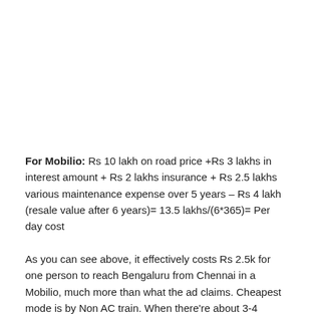For Mobilio: Rs 10 lakh on road price +Rs 3 lakhs in interest amount + Rs 2 lakhs insurance + Rs 2.5 lakhs various maintenance expense over 5 years – Rs 4 lakh (resale value after 6 years)= 13.5 lakhs/(6*365)= Per day cost
As you can see above, it effectively costs Rs 2.5k for one person to reach Bengaluru from Chennai in a Mobilio, much more than what the ad claims. Cheapest mode is by Non AC train. When there're about 3-4 people, the cost of AC and distance transportation and Mobilio it's the same.